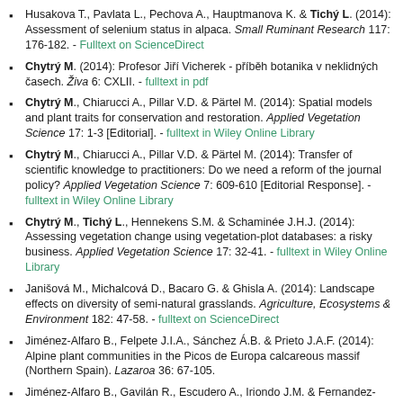Husakova T., Pavlata L., Pechova A., Hauptmanova K. & Tichý L. (2014): Assessment of selenium status in alpaca. Small Ruminant Research 117: 176-182. - Fulltext on ScienceDirect
Chytrý M. (2014): Profesor Jiří Vicherek - příběh botanika v neklidných časech. Živa 6: CXLII. - fulltext in pdf
Chytrý M., Chiarucci A., Pillar V.D. & Pärtel M. (2014): Spatial models and plant traits for conservation and restoration. Applied Vegetation Science 17: 1-3 [Editorial]. - fulltext in Wiley Online Library
Chytrý M., Chiarucci A., Pillar V.D. & Pärtel M. (2014): Transfer of scientific knowledge to practitioners: Do we need a reform of the journal policy? Applied Vegetation Science 7: 609-610 [Editorial Response]. - fulltext in Wiley Online Library
Chytrý M., Tichý L., Hennekens S.M. & Schaminée J.H.J. (2014): Assessing vegetation change using vegetation-plot databases: a risky business. Applied Vegetation Science 17: 32-41. - fulltext in Wiley Online Library
Janišová M., Michalcová D., Bacaro G. & Ghisla A. (2014): Landscape effects on diversity of semi-natural grasslands. Agriculture, Ecosystems & Environment 182: 47-58. - fulltext on ScienceDirect
Jiménez-Alfaro B., Felpete J.I.A., Sánchez Á.B. & Prieto J.A.F. (2014): Alpine plant communities in the Picos de Europa calcareous massif (Northern Spain). Lazaroa 36: 67-105.
Jiménez-Alfaro B., Gavilán R., Escudero A., Iriondo J.M. & Fernandez-González F. (2014): Decline of dry grassland specialists in Mediterranean high-mountain communities influenced by recent climate warming. Journal of Vegetation Science 25: 1387-1404.